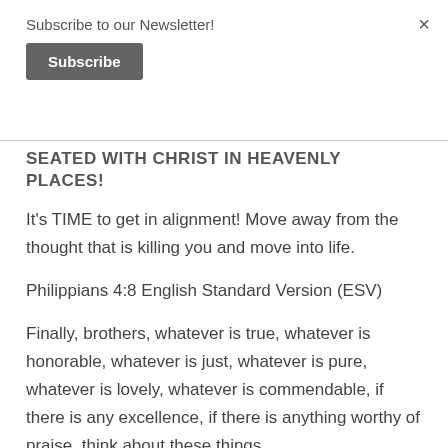Subscribe to our Newsletter!
Subscribe
×
SEATED WITH CHRIST IN HEAVENLY PLACES!
It's TIME to get in alignment! Move away from the thought that is killing you and move into life.
Philippians 4:8 English Standard Version (ESV)
Finally, brothers, whatever is true, whatever is honorable, whatever is just, whatever is pure, whatever is lovely, whatever is commendable, if there is any excellence, if there is anything worthy of praise, think about these things.